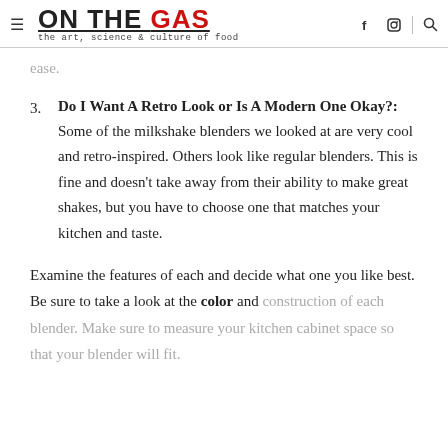ON THE GAS — the art, science & culture of food
ease.
3. Do I Want A Retro Look or Is A Modern One Okay?: Some of the milkshake blenders we looked at are very cool and retro-inspired. Others look like regular blenders. This is fine and doesn't take away from their ability to make great shakes, but you have to choose one that matches your kitchen and taste.
Examine the features of each and decide what one you like best. Be sure to take a look at the color and construction of each blender. Make sure to measure your kitchen cabinet space so that your blender will fit.